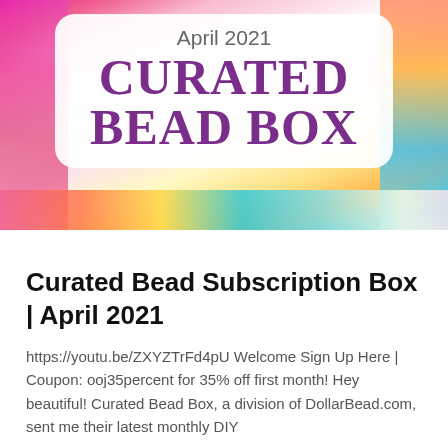[Figure (photo): Banner image showing colorful beads (pink, orange, blue, yellow) arranged around a white rounded rectangle label that reads 'April 2021' above 'CURATED BEAD BOX' in large purple serif text.]
Curated Bead Subscription Box | April 2021
https://youtu.be/ZXYZTrFd4pU Welcome Sign Up Here | Coupon: ooj35percent for 35% off first month! Hey beautiful! Curated Bead Box, a division of DollarBead.com, sent me their latest monthly DIY